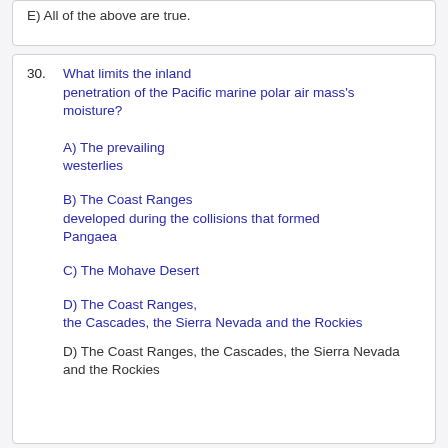E) All of the above are true.
30. What limits the inland penetration of the Pacific marine polar air mass's moisture?
A) The prevailing westerlies
B) The Coast Ranges developed during the collisions that formed Pangaea
C) The Mohave Desert
D) The Coast Ranges, the Cascades, the Sierra Nevada and the Rockies
D) The Coast Ranges, the Cascades, the Sierra Nevada and the Rockies